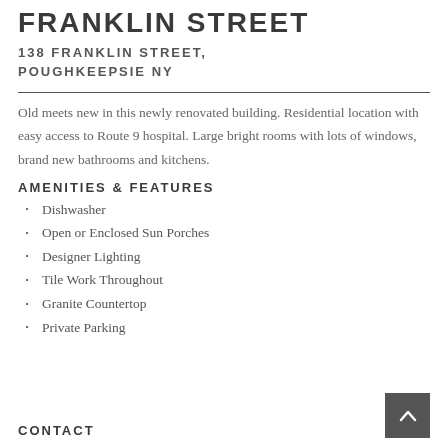FRANKLIN STREET
138 FRANKLIN STREET, POUGHKEEPSIE NY
Old meets new in this newly renovated building. Residential location with easy access to Route 9 hospital. Large bright rooms with lots of windows, brand new bathrooms and kitchens.
AMENITIES & FEATURES
Dishwasher
Open or Enclosed Sun Porches
Designer Lighting
Tile Work Throughout
Granite Countertop
Private Parking
CONTACT